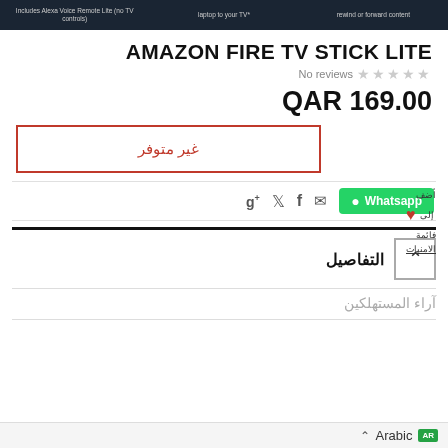[Figure (screenshot): Dark banner at top showing Amazon Fire TV Stick Lite feature text snippets]
AMAZON FIRE TV STICK LITE
No reviews ★★★★★
QAR 169.00
غير متوفر
أضف إلى قائمة الامنيات
g+ twitter facebook email Whatsapp
التفاصيل
آراء المستهلكين
Arabic